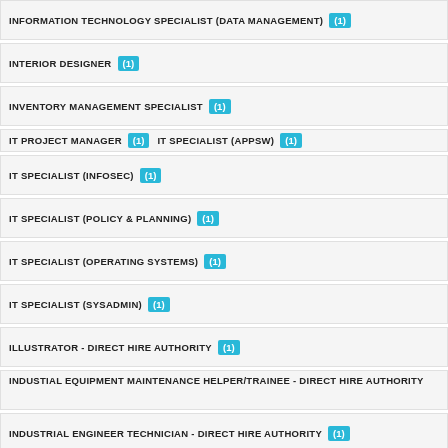INFORMATION TECHNOLOGY SPECIALIST (DATA MANAGEMENT) (1)
INTERIOR DESIGNER (1)
INVENTORY MANAGEMENT SPECIALIST (1)
IT PROJECT MANAGER (1)   IT SPECIALIST (APPSW) (1)
IT SPECIALIST (INFOSEC) (1)
IT SPECIALIST (POLICY & PLANNING) (1)
IT SPECIALIST (OPERATING SYSTEMS) (1)
IT SPECIALIST (SYSADMIN) (1)
ILLUSTRATOR - DIRECT HIRE AUTHORITY (1)
INDUSTIAL EQUIPMENT MAINTENANCE HELPER/TRAINEE - DIRECT HIRE AUTHORITY
INDUSTRIAL ENGINEER TECHNICIAN - DIRECT HIRE AUTHORITY (1)
INDUSTRIAL ENGINEERING TECHNICAL - DIRECT HIRE AUTHORITY (1)
INDUSTRIAL EQUIPMENT MECHANIC - DIRECT HIRE AUTHORTIY (1)